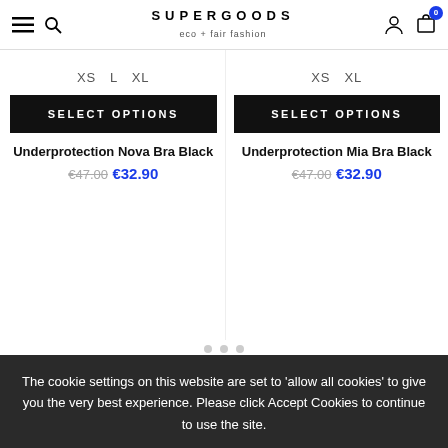SUPERGOODS eco + fair fashion — navigation header with menu, search, account, cart (0)
XS  L  XL
SELECT OPTIONS
Underprotection Nova Bra Black
€47.00  €32.90
XS  XL
SELECT OPTIONS
Underprotection Mia Bra Black
€47.00  €32.90
The cookie settings on this website are set to 'allow all cookies' to give you the very best experience. Please click Accept Cookies to continue to use the site.
PRIVACY POLICY   ACCEPT ✓